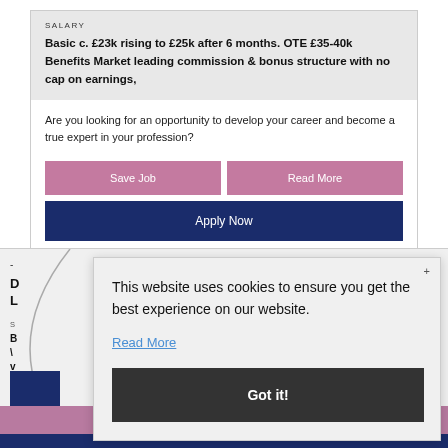SALARY
Basic c. £23k rising to £25k after 6 months. OTE £35-40k Benefits Market leading commission & bonus structure with no cap on earnings,
Are you looking for an opportunity to develop your career and become a true expert in your profession?
Save Job
Read More
Apply Now
This website uses cookies to ensure you get the best experience on our website.
Read More
Got it!